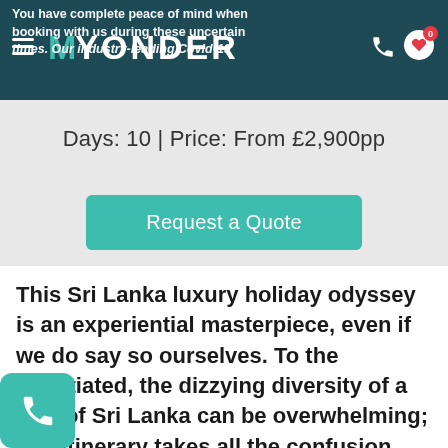MyYonder — You have complete peace of mind when booking with us during these uncertain times. Our industry-leading Covid-19...
Days: 10 | Price: From £2,900pp
Request a Quote
This Sri Lanka luxury holiday odyssey is an experiential masterpiece, even if we do say so ourselves. To the uninitiated, the dizzying diversity of a tour of Sri Lanka can be overwhelming; this itinerary takes all the confusion away, while covering a lot of jaw-dropping ground by planes, trains and automobiles.